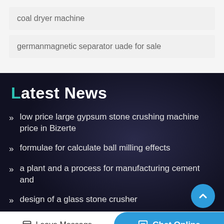coal dryer machine
germanmagnetic separator uade for sale
Latest News
low price large gypsum stone crushing machine price in Bizerte
formulae for calculate ball milling effects
a plant and a process for manufacturing cement and
design of a glass stone crusher
Leave Message
Chat Online